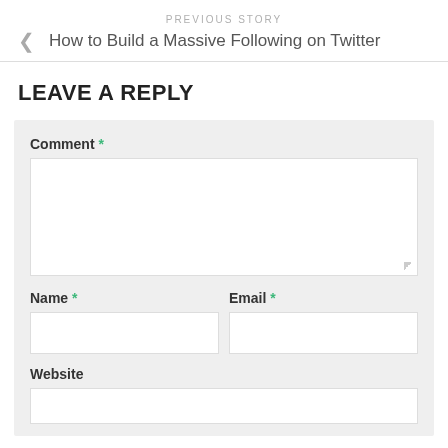PREVIOUS STORY
< How to Build a Massive Following on Twitter
LEAVE A REPLY
Comment *
Name *
Email *
Website